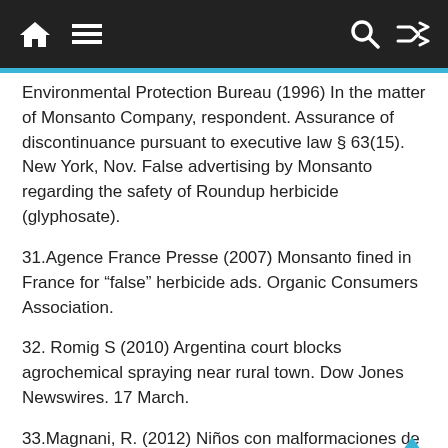Navigation bar with home, menu, search, and shuffle icons
Environmental Protection Bureau (1996) In the matter of Monsanto Company, respondent. Assurance of discontinuance pursuant to executive law § 63(15). New York, Nov. False advertising by Monsanto regarding the safety of Roundup herbicide (glyphosate).
31.Agence France Presse (2007) Monsanto fined in France for “false” herbicide ads. Organic Consumers Association.
32. Romig S (2010) Argentina court blocks agrochemical spraying near rural town. Dow Jones Newswires. 17 March.
33.Magnani, R. (2012) Niños con malformaciones de nacimiento [Children with birth defects]